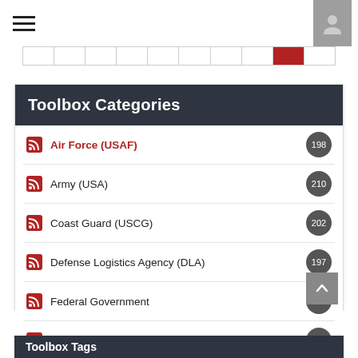[Figure (screenshot): Top navigation bar with hamburger menu icon on left and user profile icon on right, with a pagination bar below]
Toolbox Categories
Air Force (USAF) 198
Army (USA) 210
Coast Guard (USCG) 202
Defense Logistics Agency (DLA) 197
Federal Government 187
Foreign Military Sales (FMS) 109
Marine Corps (USMC) 259
Navy (USN) 280